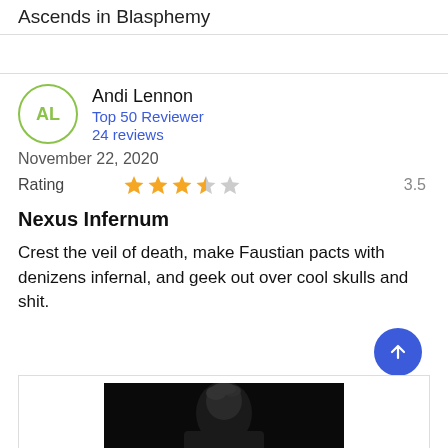Ascends in Blasphemy
Andi Lennon
Top 50 Reviewer
24 reviews
November 22, 2020
Rating   3.5
Nexus Infernum
Crest the veil of death, make Faustian pacts with denizens infernal, and geek out over cool skulls and shit.
[Figure (photo): Black and white photo of a person, partially visible at bottom of page]